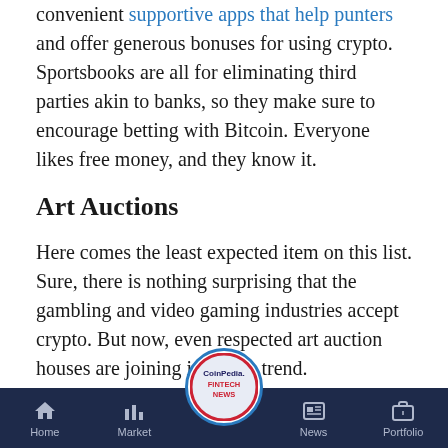convenient supportive apps that help punters and offer generous bonuses for using crypto. Sportsbooks are all for eliminating third parties akin to banks, so they make sure to encourage betting with Bitcoin. Everyone likes free money, and they know it.
Art Auctions
Here comes the least expected item on this list. Sure, there is nothing surprising that the gambling and video gaming industries accept crypto. But now, even respected art auction houses are joining in on the trend.
When Sotheby's, the best-known art broker in the world, announced that it would hold an auction for Banksy's Love Is in the Air, it also encouraged [payment] with crypto. The art
Home | Market | CoinPedia FINTECH NEWS | News | Portfolio